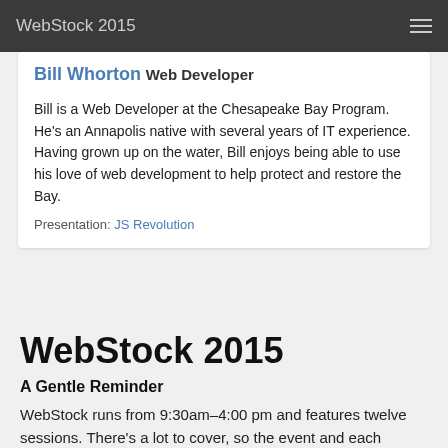WebStock 2015
Bill Whorton Web Developer

Bill is a Web Developer at the Chesapeake Bay Program. He's an Annapolis native with several years of IT experience. Having grown up on the water, Bill enjoys being able to use his love of web development to help protect and restore the Bay.

Presentation: JS Revolution
WebStock 2015
A Gentle Reminder
WebStock runs from 9:30am–4:00 pm and features twelve sessions. There's a lot to cover, so the event and each session will start promptly.